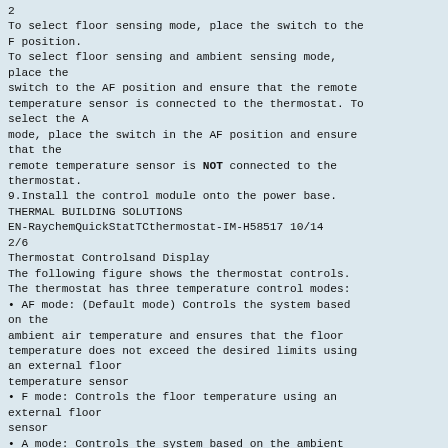2
To select floor sensing mode, place the switch to the F position.
To select floor sensing and ambient sensing mode, place the
switch to the AF position and ensure that the remote
temperature sensor is connected to the thermostat. To
select the A
mode, place the switch in the AF position and ensure
that the
remote temperature sensor is NOT connected to the
thermostat.
9.Install the control module onto the power base.
THERMAL BUILDING SOLUTIONS
EN-RaychemQuickStatTCthermostat-IM-H58517 10/14
2/6
Thermostat Controlsand Display
The following figure shows the thermostat controls.
The thermostat has three temperature control modes:
• AF mode: (Default mode) Controls the system based on the
ambient air temperature and ensures that the floor
temperature does not exceed the desired limits using
an external floor
temperature sensor
• F mode: Controls the floor temperature using an external floor
sensor
• A mode: Controls the system based on the ambient
air temperature (does not use floor sensor)
GFCI test button
ON/OFF switch1
and GFCI reset 2